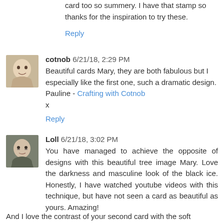card too  so summery. I have that stamp so thanks for the inspiration to try these.
Reply
cotnob 6/21/18, 2:29 PM
Beautiful cards Mary, they are both fabulous but I especially like the first one, such a dramatic design.
Pauline - Crafting with Cotnob
x
Reply
Loll 6/21/18, 3:02 PM
You have managed to achieve the opposite of designs with this beautiful tree image Mary. Love the darkness and masculine look of the black ice. Honestly, I have watched youtube videos with this technique, but have not seen a card as beautiful as yours. Amazing!
And I love the contrast of your second card with the soft